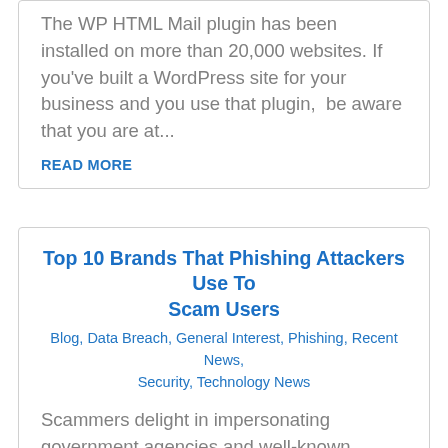The WP HTML Mail plugin has been installed on more than 20,000 websites. If you've built a WordPress site for your business and you use that plugin,  be aware that you are at...
READ MORE
Top 10 Brands That Phishing Attackers Use To Scam Users
Blog, Data Breach, General Interest, Phishing, Recent News, Security, Technology News
Scammers delight in impersonating government agencies and well-known brands to lure email recipients into giving up their personal information. That information is then either...
READ MORE